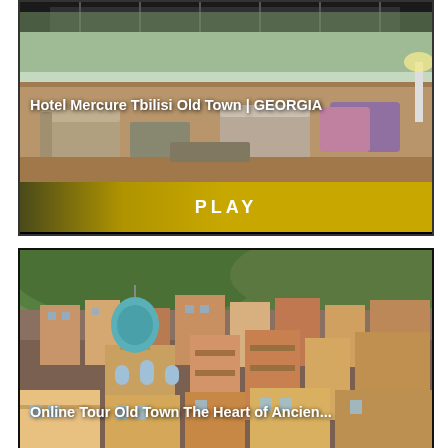[Figure (photo): Hotel rooftop terrace with outdoor furniture, lounge chairs, sofas, and a transparent roof canopy. Text overlay reads: Hotel Mercure Tbilisi Old Town | GEORGIA]
PLAY
[Figure (photo): Colorful buildings of Tbilisi Old Town with a distinctive blue-domed church tower in the foreground, terraced houses on hillside. Text overlay reads: Online Tour Old Town The Heart of Ancien...]